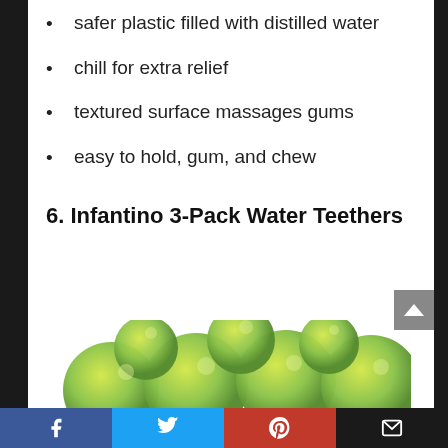safer plastic filled with distilled water
chill for extra relief
textured surface massages gums
easy to hold, gum, and chew
6. Infantino 3-Pack Water Teethers
[Figure (photo): Green Infantino water teether rings arranged in a cluster, partially visible at the bottom of the page]
Facebook  Twitter  Pinterest  Email (social share bar)